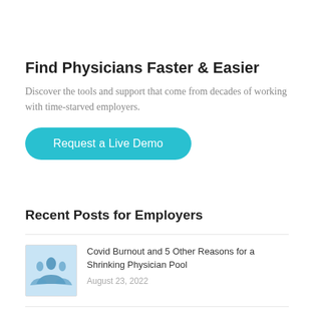Find Physicians Faster & Easier
Discover the tools and support that come from decades of working with time-starved employers.
Request a Live Demo
Recent Posts for Employers
[Figure (photo): Blue silhouettes of business people / physicians group on light blue background]
Covid Burnout and 5 Other Reasons for a Shrinking Physician Pool
August 23, 2022
[Figure (photo): Close-up of a keyboard key with 'AD' label on dark background]
PhysEmp's Top Performing Ads in June 2022
July 19, 2022